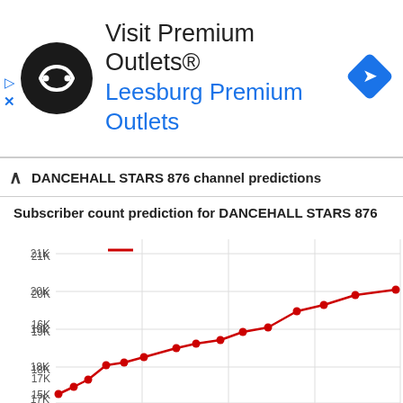[Figure (advertisement): Ad banner for Visit Premium Outlets® - Leesburg Premium Outlets with black circular logo and blue navigation icon]
DANCEHALL STARS 876 channel predictions
Subscriber count prediction for DANCEHALL STARS 876
[Figure (line-chart): Subscriber count prediction for DANCEHALL STARS 876]